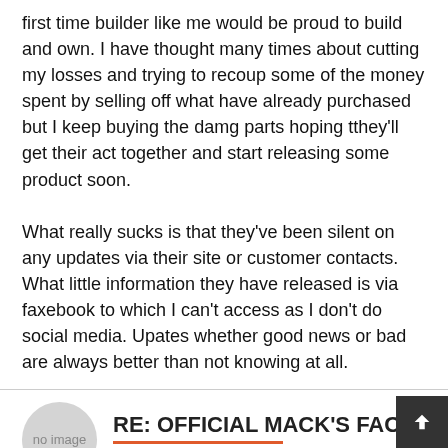first time builder like me would be proud to build and own. I have thought many times about cutting my losses and trying to recoup some of the money spent by selling off what have already purchased but I keep buying the damg parts hoping tthey'll get their act together and start releasing some product soon.

What really sucks is that they've been silent on any updates via their site or customer contacts. What little information they have released is via faxebook to which I can't access as I don't do social media. Upates whether good news or bad are always better than not knowing at all.
RE: OFFICIAL MACK'S FACTORY BU
By Dan AKA
- July 30th, 2022, 8:45 am  #497
kahuna900 wrote: ↑